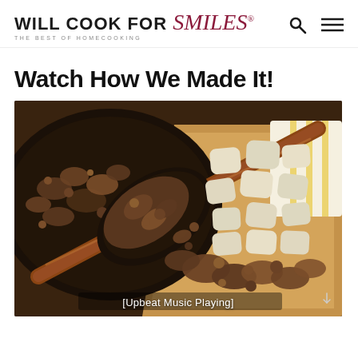WILL COOK FOR Smiles® THE BEST OF HOMECOOKING
Watch How We Made It!
[Figure (photo): Food preparation photo showing ground meat being spooned from a skillet into a baking dish containing biscuit pieces, with a striped cloth visible in the background. Overlay text reads [Upbeat Music Playing]]